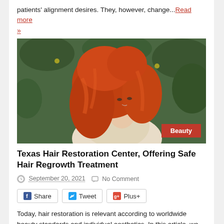patients' alignment desires. They, however, change... Read more »
[Figure (photo): Young woman with long red wavy hair sitting on grass, looking to the side. Red 'Beauty' badge in bottom right corner.]
Texas Hair Restoration Center, Offering Safe Hair Regrowth Treatment
September 20, 2021   No Comment
Share   Tweet   Plus+
Today, hair restoration is relevant according to worldwide beauty standards and individual aesthetics. In this article, we try to